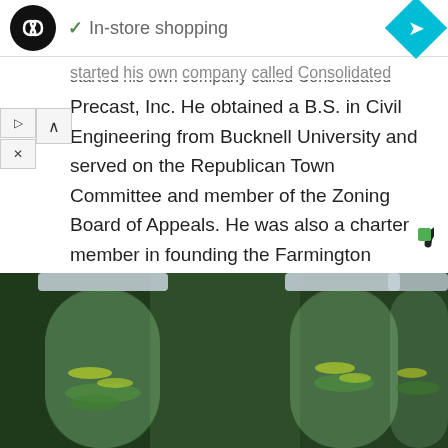[Figure (screenshot): Top ad bar with dark circular logo (infinity symbol), checkmark and 'In-store shopping' text, and a cyan diamond navigation icon on the right]
started his own company called Consolidated Precast, Inc. He obtained a B.S. in Civil Engineering from Bucknell University and served on the Republican Town Committee and member of the Zoning Board of Appeals. He was also a charter member in founding the Farmington Rotary Club.  He died in 2010.
[Figure (logo): Taboola logo - dark C shape with green square]
[Figure (photo): Three plastic water bottles filled with water, cucumber slices, and lemon wedges (infused water), photographed close up]